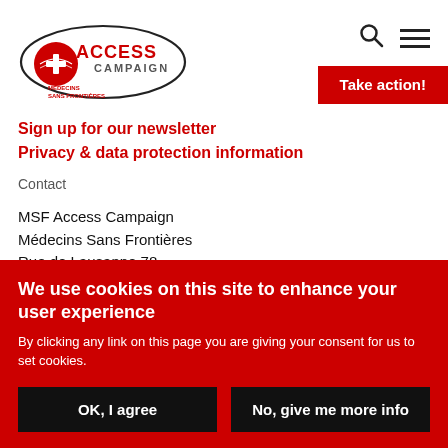[Figure (logo): MSF Access Campaign logo with red 'ACCESS' text, 'CAMPAIGN' subtitle, MSF globe symbol and 'Médecins Sans Frontières' text, enclosed in an oval border]
Take action!
Sign up for our newsletter
Privacy & data protection information
Contact
MSF Access Campaign
Médecins Sans Frontières
Rue de Lausanne 78
We use cookies on this site to enhance your user experience
By clicking any link on this page you are giving your consent for us to set cookies.
OK, I agree
No, give me more info